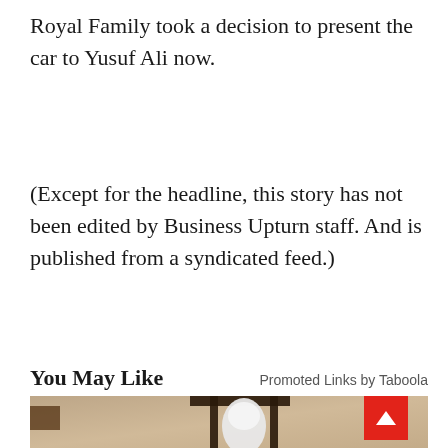Royal Family took a decision to present the car to Yusuf Ali now.
(Except for the headline, this story has not been edited by Business Upturn staff. And is published from a syndicated feed.)
You May Like
Promoted Links by Taboola
[Figure (photo): A close-up photograph of a vintage black iron wall lantern mounted on a stone or textured plaster wall, with a white LED bulb camera device inside it. The image is in sepia/warm tones.]